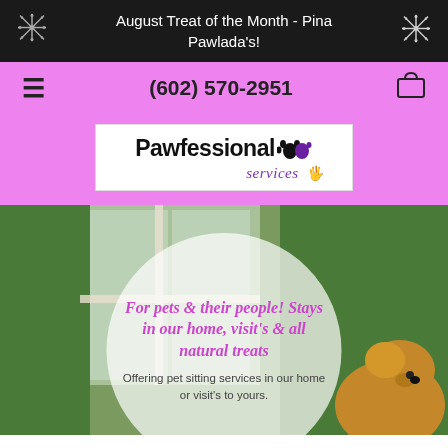August Treat of the Month - Pina Pawlada's!
(602) 570-2951
[Figure (logo): Pawfessional Services logo with paw prints and hand icon]
For pets & their people! Stays in our home, visit's & all natural treats
Offering pet sitting services in our home or visit's to yours.
[Figure (photo): Background photo of a dog near a window with green hedges]